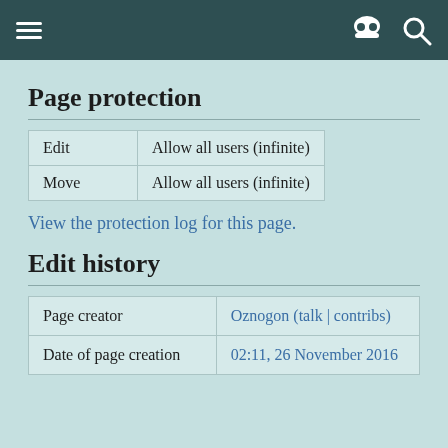Page protection
|  |  |
| --- | --- |
| Edit | Allow all users (infinite) |
| Move | Allow all users (infinite) |
View the protection log for this page.
Edit history
|  |  |
| --- | --- |
| Page creator | Oznogon (talk | contribs) |
| Date of page creation | 02:11, 26 November 2016 |